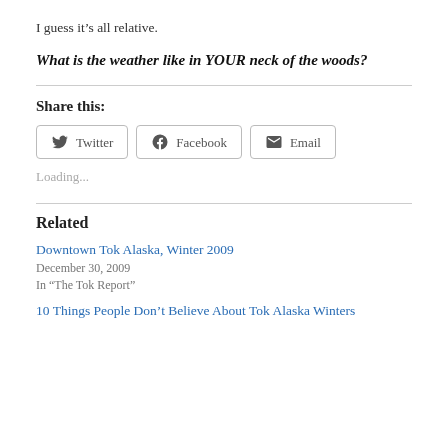I guess it’s all relative.
What is the weather like in YOUR neck of the woods?
Share this:
Loading...
Related
Downtown Tok Alaska, Winter 2009
December 30, 2009
In “The Tok Report”
10 Things People Don’t Believe About Tok Alaska Winters